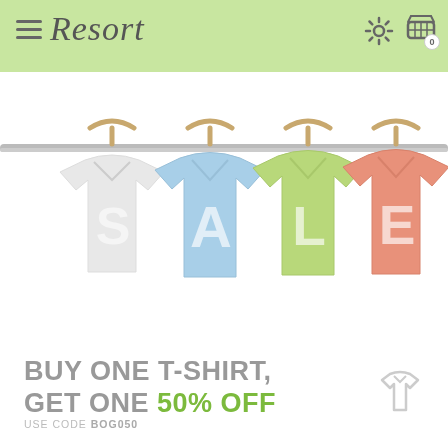Resort
[Figure (illustration): Four v-neck t-shirts hanging on a rod with wooden hangers. Left to right: white shirt with 'S', blue shirt with 'A', green shirt with 'L', coral/salmon shirt with 'E'. Together spelling 'SALE'.]
BUY ONE T-SHIRT, GET ONE 50% OFF
USE CODE BOG050